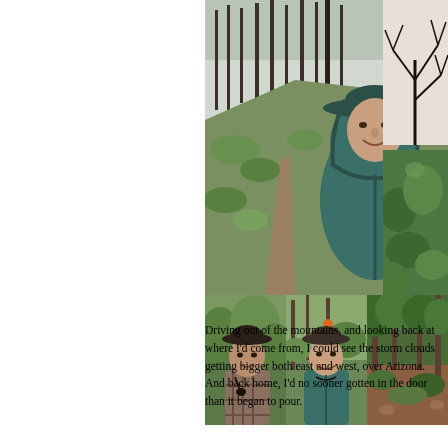[Figure (photo): Hiker in teal rain jacket with hood and hat on a mountain trail through burned pine forest. Selfie-style photo. Below are three more photos in a row: left shows another hiker with dark hat in green forest; center shows smiling hiker in rain gear with hat; right shows dense green forest path.]
Driving out of the mountains, and looking back at where I'd come from, I could see the storm clouds getting bigger both east and west, over Arizona. And back home, I'd no sooner gotten in the door than it began to pour.